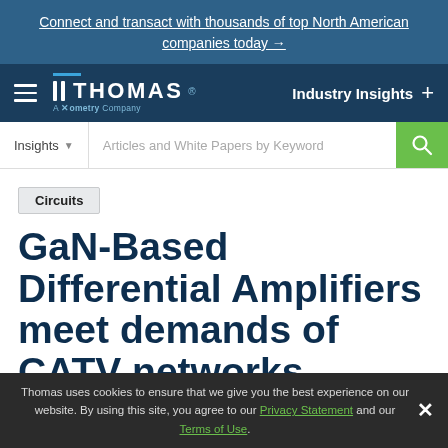Connect and transact with thousands of top North American companies today →
[Figure (logo): Thomas - A Xometry Company logo with navigation bar showing Industry Insights]
Insights   Articles and White Papers by Keyword
Circuits
GaN-Based Differential Amplifiers meet demands of CATV networks.
Thomas uses cookies to ensure that we give you the best experience on our website. By using this site, you agree to our Privacy Statement and our Terms of Use.